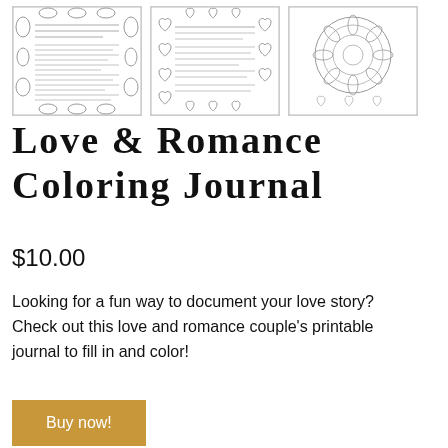[Figure (illustration): Three thumbnail images of coloring journal pages: first shows a page with text and floral/fruit border, second shows a page with heart border, third shows a mandala design with hearts.]
Love & Romance Coloring Journal
$10.00
Looking for a fun way to document your love story? Check out this love and romance couple's printable journal to fill in and color!
Buy now!